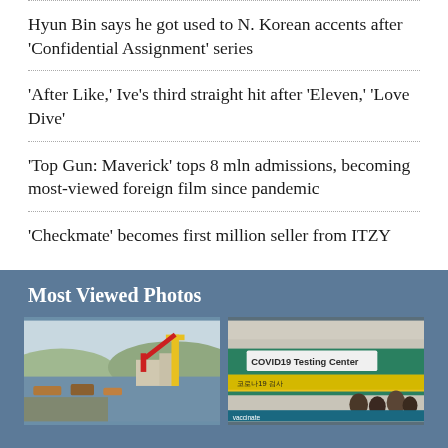Hyun Bin says he got used to N. Korean accents after 'Confidential Assignment' series
'After Like,' Ive's third straight hit after 'Eleven,' 'Love Dive'
'Top Gun: Maverick' tops 8 mln admissions, becoming most-viewed foreign film since pandemic
'Checkmate' becomes first million seller from ITZY
Most Viewed Photos
[Figure (photo): Harbor scene with yellow crane and fishing boats]
[Figure (photo): COVID19 Testing Center with people queuing outside]